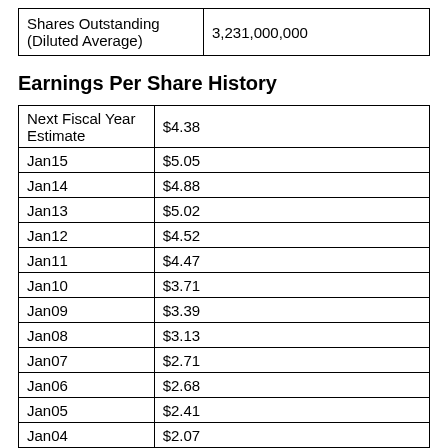| Shares Outstanding (Diluted Average) | 3,231,000,000 |
Earnings Per Share History
| Next Fiscal Year Estimate | $4.38 |
| Jan15 | $5.05 |
| Jan14 | $4.88 |
| Jan13 | $5.02 |
| Jan12 | $4.52 |
| Jan11 | $4.47 |
| Jan10 | $3.71 |
| Jan09 | $3.39 |
| Jan08 | $3.13 |
| Jan07 | $2.71 |
| Jan06 | $2.68 |
| Jan05 | $2.41 |
| Jan04 | $2.07 |
| Jan03 | $1.79 |
| Jan02 | $1.47 |
| Jan01 | $1.40 |
| Jan00 | $1.19 |